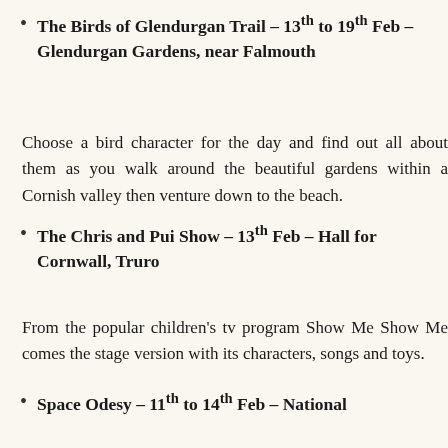The Birds of Glendurgan Trail – 13th to 19th Feb – Glendurgan Gardens, near Falmouth
Choose a bird character for the day and find out all about them as you walk around the beautiful gardens within a Cornish valley then venture down to the beach.
The Chris and Pui Show – 13th Feb – Hall for Cornwall, Truro
From the popular children's tv program Show Me Show Me comes the stage version with its characters, songs and toys.
Space Odesy – 11th to 14th Feb – National...